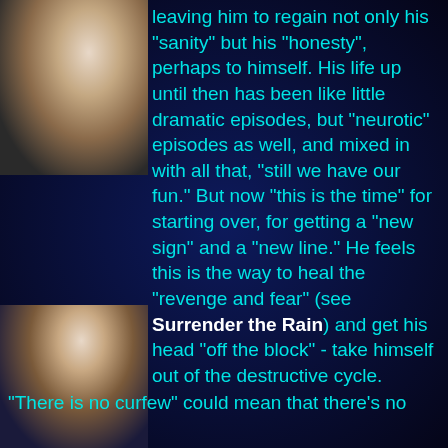[Figure (photo): Photo of a man in white shirt, upper body, dark background, top left area]
leaving him to regain not only his "sanity" but his "honesty", perhaps to himself. His life up until then has been like little dramatic episodes, but "neurotic" episodes as well, and mixed in with all that, "still we have our fun." But now "this is the time" for starting over, for getting a "new sign" and a "new line." He feels this is the way to heal the "revenge and fear" (see Surrender the Rain) and get his head "off the block" - take himself out of the destructive cycle.
[Figure (photo): Photo of a man in white shirt, lower body visible, dark background, bottom left area]
"There is no curfew" could mean that there's no